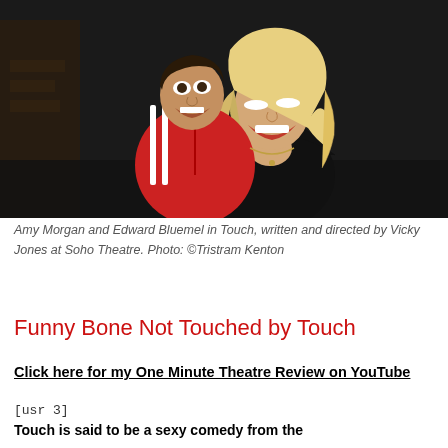[Figure (photo): Two actors on stage: a young man in a red tracksuit jacket leaning behind a woman with long blonde hair, both with open mouths, laughing/shouting expressions, dark background]
Amy Morgan and Edward Bluemel in Touch, written and directed by Vicky Jones at Soho Theatre. Photo: ©Tristram Kenton
Funny Bone Not Touched by Touch
Click here for my One Minute Theatre Review on YouTube
[usr 3]
Touch is said to be a sexy comedy from the